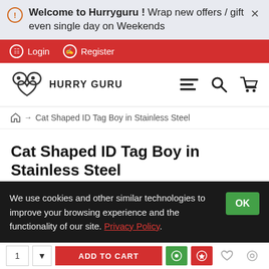Welcome to Hurryguru ! Wrap new offers / gift even single day on Weekends
Login  Register
[Figure (logo): Hurryguru logo with decorative eye/face icon and text HURRY GURU]
Cat Shaped ID Tag Boy in Stainless Steel (breadcrumb)
Cat Shaped ID Tag Boy in Stainless Steel
We use cookies and other similar technologies to improve your browsing experience and the functionality of our site. Privacy Policy.